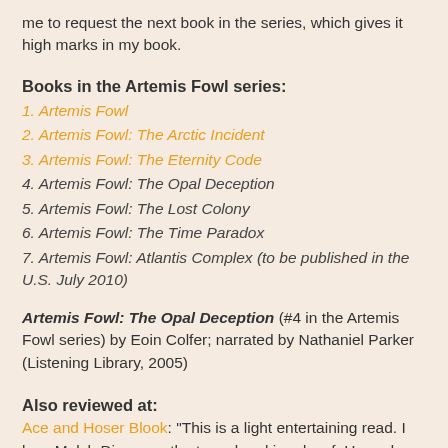me to request the next book in the series, which gives it high marks in my book.
Books in the Artemis Fowl series:
1. Artemis Fowl
2. Artemis Fowl: The Arctic Incident
3. Artemis Fowl: The Eternity Code
4. Artemis Fowl: The Opal Deception
5. Artemis Fowl: The Lost Colony
6. Artemis Fowl: The Time Paradox
7. Artemis Fowl: Atlantis Complex (to be published in the U.S. July 2010)
Artemis Fowl: The Opal Deception (#4 in the Artemis Fowl series) by Eoin Colfer; narrated by Nathaniel Parker (Listening Library, 2005)
Also reviewed at:
Ace and Hoser Blook: "This is a light entertaining read. I love Mulch Diggums, the tunnel-making dwarf. He and Holly really banter back and forth."
Bookworms and Tea Lovers: "It is fast-paced, the suspense